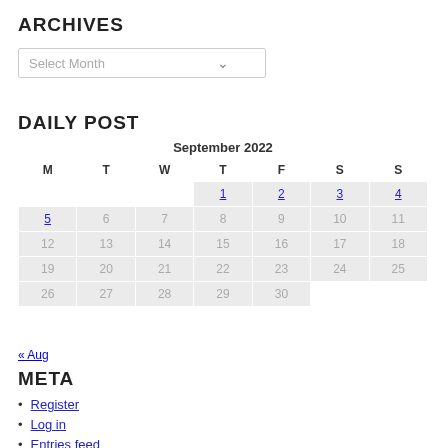ARCHIVES
Select Month
DAILY POST
| M | T | W | T | F | S | S |
| --- | --- | --- | --- | --- | --- | --- |
|  |  |  | 1 | 2 | 3 | 4 |
| 5 | 6 | 7 | 8 | 9 | 10 | 11 |
| 12 | 13 | 14 | 15 | 16 | 17 | 18 |
| 19 | 20 | 21 | 22 | 23 | 24 | 25 |
| 26 | 27 | 28 | 29 | 30 |  |  |
« Aug
META
Register
Log in
Entries feed
Comments feed